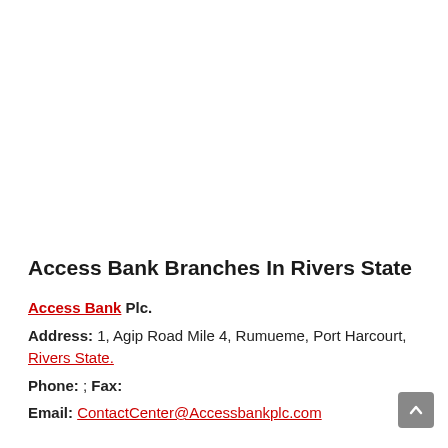Access Bank Branches In Rivers State
Access Bank Plc.
Address: 1, Agip Road Mile 4, Rumueme, Port Harcourt, Rivers State.
Phone: ; Fax:
Email: ContactCenter@Accessbankplc.com